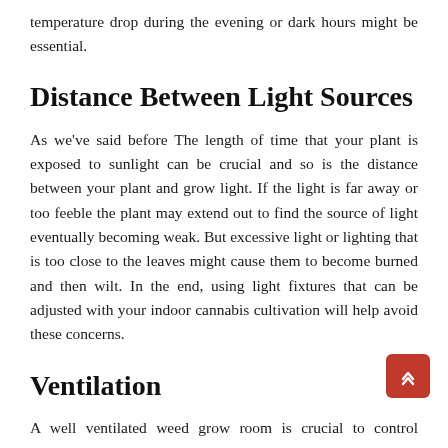temperature drop during the evening or dark hours might be essential.
Distance Between Light Sources
As we've said before The length of time that your plant is exposed to sunlight can be crucial and so is the distance between your plant and grow light. If the light is far away or too feeble the plant may extend out to find the source of light eventually becoming weak. But excessive light or lighting that is too close to the leaves might cause them to become burned and then wilt. In the end, using light fixtures that can be adjusted with your indoor cannabis cultivation will help avoid these concerns.
Ventilation
A well ventilated weed grow room is crucial to control temperature. Because your grow room is enclosed the carbon dioxide in the air might rapidly be used up,